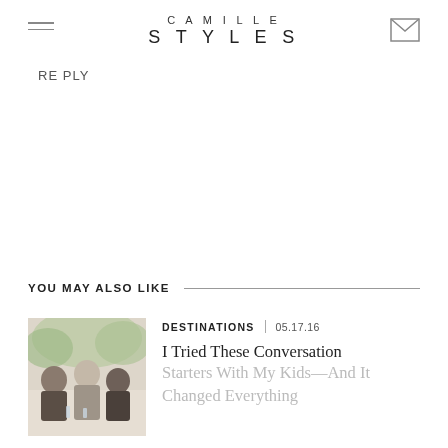CAMILLE STYLES
RE PLY
YOU MAY ALSO LIKE
[Figure (photo): Photo of people dining outdoors at a table, women in conversation]
DESTINATIONS | 05.17.16
I Tried These Conversation Starters With My Kids—And It Changed Everything